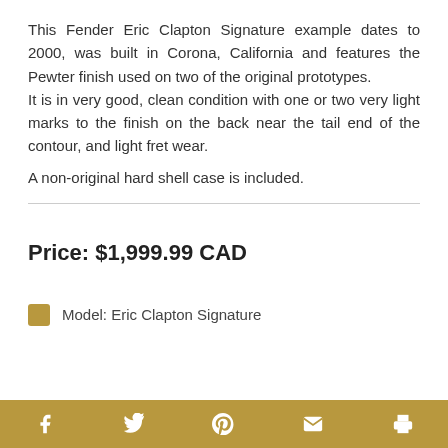This Fender Eric Clapton Signature example dates to 2000, was built in Corona, California and features the Pewter finish used on two of the original prototypes. It is in very good, clean condition with one or two very light marks to the finish on the back near the tail end of the contour, and light fret wear.
A non-original hard shell case is included.
Price: $1,999.99 CAD
Model: Eric Clapton Signature